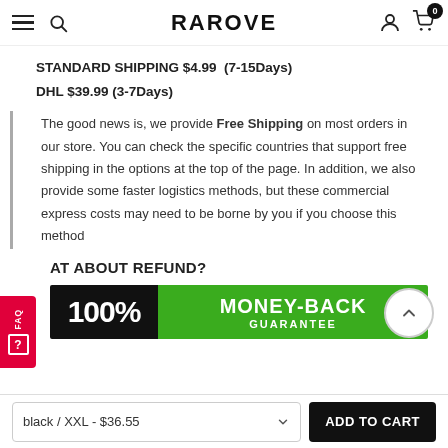RAROVE
STANDARD SHIPPING $4.99  (7-15Days)
DHL $39.99 (3-7Days)
The good news is, we provide Free Shipping on most orders in our store. You can check the specific countries that support free shipping in the options at the top of the page. In addition, we also provide some faster logistics methods, but these commercial express costs may need to be borne by you if you choose this method
AT ABOUT REFUND?
[Figure (infographic): 100% MONEY-BACK GUARANTEE banner with black left panel and green right panel]
black / XXL - $36.55   ADD TO CART